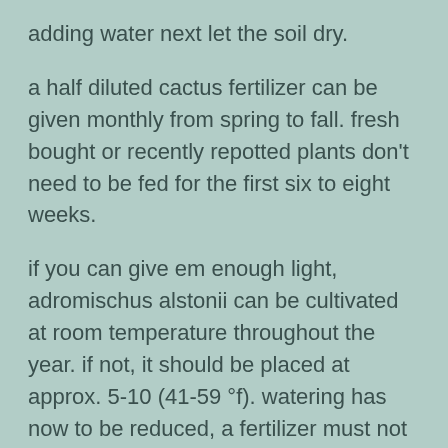adding water next let the soil dry.
a half diluted cactus fertilizer can be given monthly from spring to fall. fresh bought or recently repotted plants don’t need to be fed for the first six to eight weeks.
if you can give em enough light, adromischus alstonii can be cultivated at room temperature throughout the year. if not, it should be placed at approx. 5-10 (41-59 °f). watering has now to be reduced, a fertilizer must not be given.
propagation